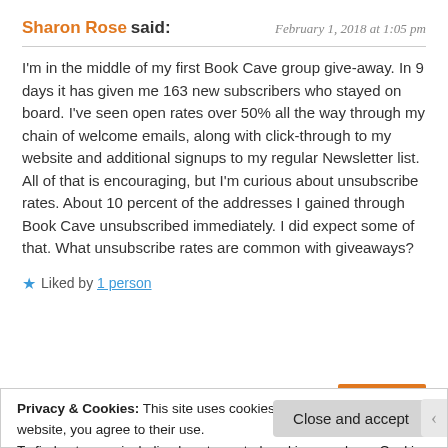Sharon Rose said: February 1, 2018 at 1:05 pm
I'm in the middle of my first Book Cave group give-away. In 9 days it has given me 163 new subscribers who stayed on board. I've seen open rates over 50% all the way through my chain of welcome emails, along with click-through to my website and additional signups to my regular Newsletter list. All of that is encouraging, but I'm curious about unsubscribe rates. About 10 percent of the addresses I gained through Book Cave unsubscribed immediately. I did expect some of that. What unsubscribe rates are common with giveaways?
★ Liked by 1 person
Privacy & Cookies: This site uses cookies. By continuing to use this website, you agree to their use.
To find out more, including how to control cookies, see here: Cookie Policy
Close and accept